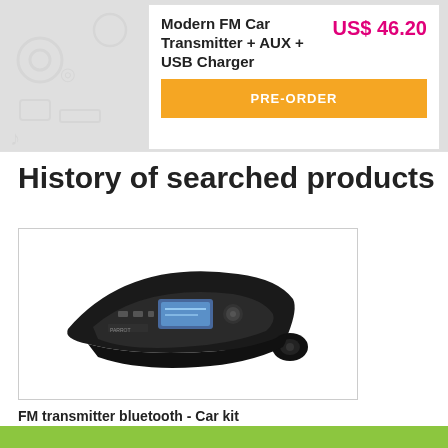[Figure (screenshot): Top product card with title 'Modern FM Car Transmitter + AUX + USB Charger', price 'US$ 46.20', and a PRE-ORDER button, overlaid on a grey background with icon patterns.]
History of searched products
[Figure (photo): Photo of an FM transmitter bluetooth car kit device — a curved black unit with display and controls, plus a small bluetooth earpiece.]
FM transmitter bluetooth - Car kit
US$ 64.90